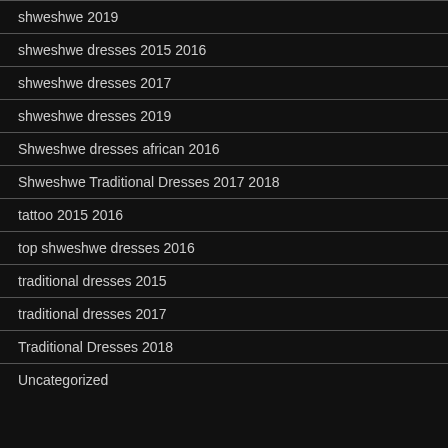shweshwe 2019
shweshwe dresses 2015 2016
shweshwe dresses 2017
shweshwe dresses 2019
Shweshwe dresses african 2016
Shweshwe Traditional Dresses 2017 2018
tattoo 2015 2016
top shweshwe dresses 2016
traditional dresses 2015
traditional dresses 2017
Traditional Dresses 2018
Uncategorized